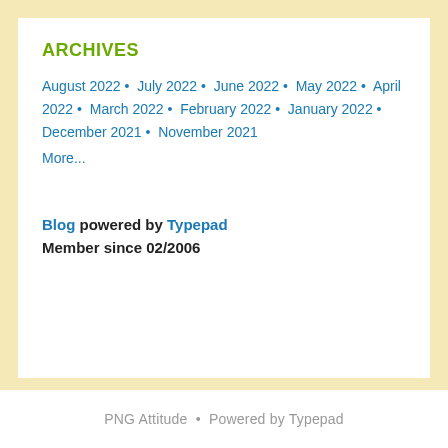ARCHIVES
August 2022 • July 2022 • June 2022 • May 2022 • April 2022 • March 2022 • February 2022 • January 2022 • December 2021 • November 2021
More...
Blog powered by Typepad
Member since 02/2006
PNG Attitude • Powered by Typepad